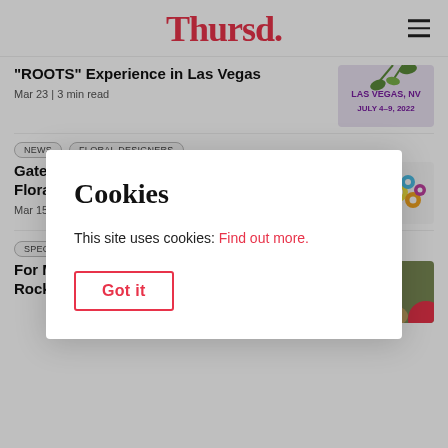Thursd.
"ROOTS" Experience in Las Vegas
Mar 23 | 3 min read
[Figure (illustration): Las Vegas NV July 4-9, 2022 event thumbnail with purple text on light background]
NEWS
FLORAL DESIGNERS
Gateway to the Americas International Floral Des...
Mar 15 | 8 mi...
[Figure (illustration): Colorful floral pattern decoration thumbnail]
SPECIAL DAYS
For More Than 25 Years Nicola Fink Is a Rock in the Surf for German Florist
[Figure (photo): Portrait of a blonde woman]
Cookies
This site uses cookies: Find out more.
Got it